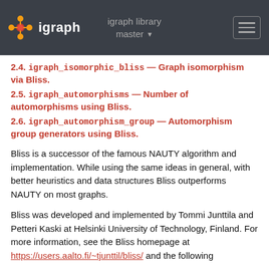igraph library | igraph | master
2.4. igraph_isomorphic_bliss — Graph isomorphism via Bliss.
2.5. igraph_automorphisms — Number of automorphisms using Bliss.
2.6. igraph_automorphism_group — Automorphism group generators using Bliss.
Bliss is a successor of the famous NAUTY algorithm and implementation. While using the same ideas in general, with better heuristics and data structures Bliss outperforms NAUTY on most graphs.
Bliss was developed and implemented by Tommi Junttila and Petteri Kaski at Helsinki University of Technology, Finland. For more information, see the Bliss homepage at https://users.aalto.fi/~tjunttil/bliss/ and the following